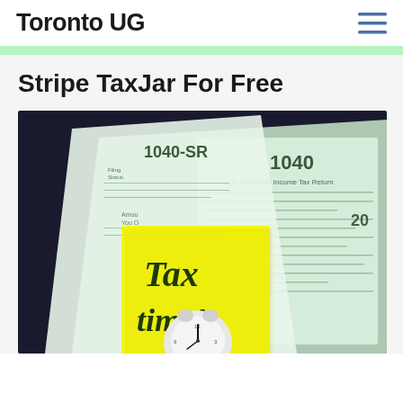Toronto UG
Stripe TaxJar For Free
[Figure (photo): Tax forms 1040-SR and 1040 U.S. Individual Income Tax Return on a dark background, with a yellow sticky note reading 'Tax time!' and a small white alarm clock.]